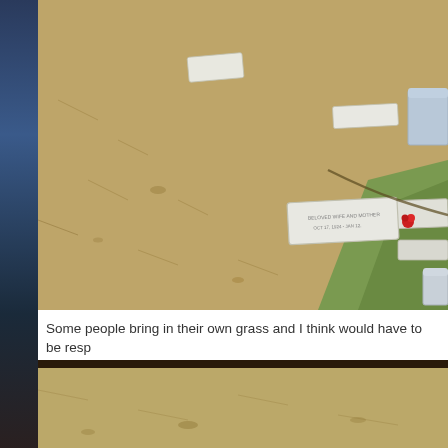[Figure (photo): Cemetery with dry brown grass and flat grave markers/headstones scattered across a hillside. A red flower is visible near a central flat marble grave marker. Green grass borders the right edge.]
Some people bring in their own grass and I think would have to be resp
[Figure (photo): Cemetery with dry brown/gray grass and a flat stone grave marker visible in the middle distance.]